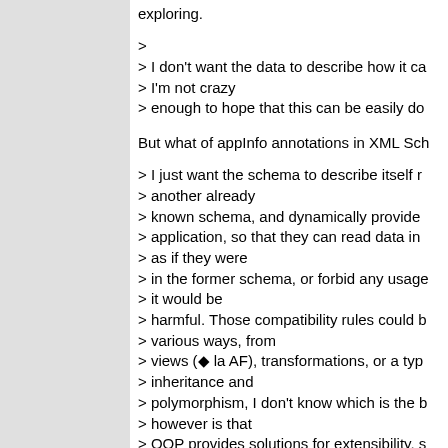exploring.
>
> I don't want the data to describe how it ca
> I'm not crazy
> enough to hope that this can be easily do
But what of appInfo annotations in XML Sch
> I just want the schema to describe itself r
> another already
> known schema, and dynamically provide
> application, so that they can read data in
> as if they were
> in the former schema, or forbid any usage
> it would be
> harmful. Those compatibility rules could b
> various ways, from
> views (◆ la AF), transformations, or a typ
> inheritance and
> polymorphism, I don't know which is the b
> however is that
> OOP provides solutions for extensibility, s
> interesting to
> have a close look at extensibility patterns